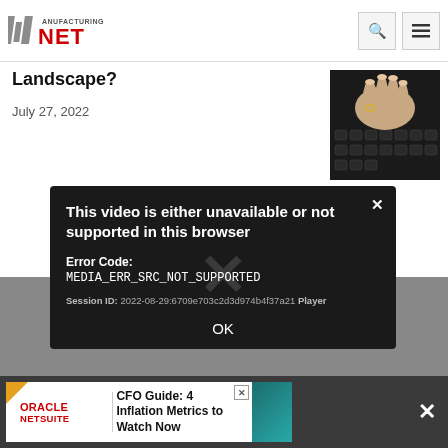Manufacturing.net — navigation bar with search and menu icons
Landscape?
July 27, 2022
[Figure (photo): Hands typing on a laptop keyboard, close-up photo]
[Figure (screenshot): Video player error modal dialog on dark background with close X button. Title: 'This video is either unavailable or not supported in this browser'. Error Code: MEDIA_ERR_SRC_NOT_SUPPORTED. Session ID: 2022-08-29:6709e703c2d3d974b4f37a21 Player. OK button at bottom.]
[Figure (screenshot): Oracle NetSuite advertisement banner: 'CFO Guide: 4 Inflation Metrics to Watch Now']